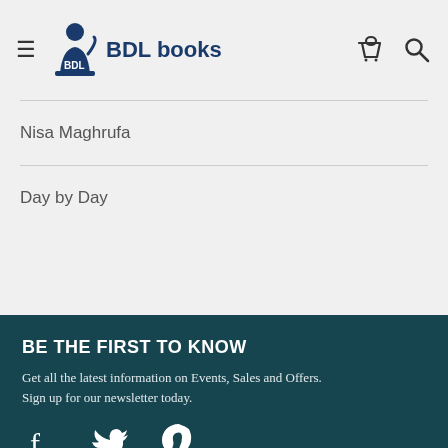BDL books
Nisa Maghrufa
Day by Day
BE THE FIRST TO KNOW
Get all the latest information on Events, Sales and Offers. Sign up for our newsletter today.
[Figure (illustration): Social media icons: Facebook, Twitter, Pinterest]